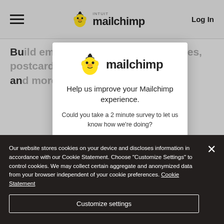Mailchimp navigation bar with hamburger menu, Intuit Mailchimp logo, and Log In button
Build email, social ads, landing pages, postcards, and more
[Figure (screenshot): Mailchimp survey modal popup with Mailchimp logo, headline 'Help us improve your Mailchimp experience.' and subtext 'Could you take a 2 minute survey to let us know how we’re doing?' with a teal button]
Our website stores cookies on your device and discloses information in accordance with our Cookie Statement. Choose “Customize Settings” to control cookies. We may collect certain aggregate and anonymized data from your browser independent of your cookie preferences. Cookie Statement
Customize settings